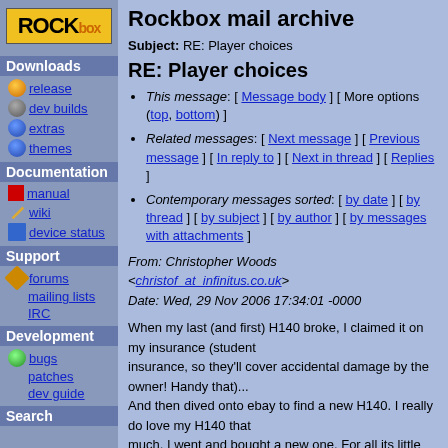[Figure (logo): Rockbox logo with yellow background and orange 'box' text]
Downloads
release
dev builds
extras
themes
Documentation
manual
wiki
device status
Support
forums
mailing lists
IRC
Development
bugs
patches
dev guide
Search
Rockbox mail archive
Subject: RE: Player choices
RE: Player choices
This message: [ Message body ] [ More options (top, bottom) ]
Related messages: [ Next message ] [ Previous message ] [ In reply to ] [ Next in thread ] [ Replies ]
Contemporary messages sorted: [ by date ] [ by thread ] [ by subject ] [ by author ] [ by messages with attachments ]
From: Christopher Woods <christof_at_infinitus.co.uk>
Date: Wed, 29 Nov 2006 17:34:01 -0000
When my last (and first) H140 broke, I claimed it on my insurance (student insurance, so they'll cover accidental damage by the owner! Handy that)...
And then dived onto ebay to find a new H140. I really do love my H140 that much, I went and bought a new one. For all its little quirks and flaws, it's still one of the best DAPs I've seen come to market to